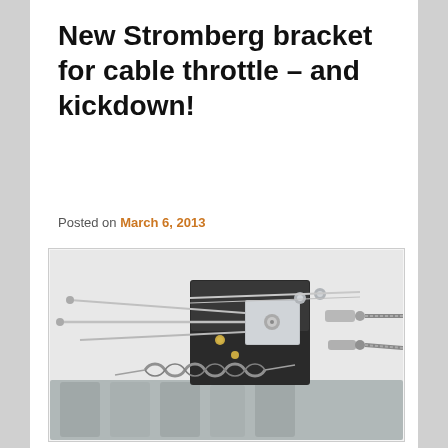New Stromberg bracket for cable throttle – and kickdown!
Posted on March 6, 2013
[Figure (photo): Close-up photograph of a Stromberg carburetor with a cable throttle and kickdown bracket installed, showing braided stainless steel throttle cables, linkage arms, return spring, and polished aluminum intake manifold]